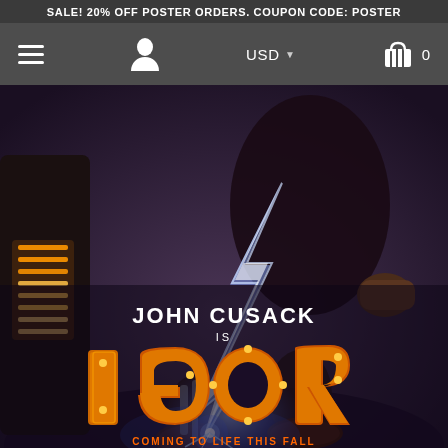SALE! 20% OFF POSTER ORDERS. COUPON CODE: POSTER
[Figure (screenshot): Website navigation bar with hamburger menu, user icon, USD currency selector, and shopping cart icon with 0 items]
[Figure (photo): Movie poster for IGOR (animated film) featuring John Cusack. Shows the lower body of a hunchbacked character with lightning effects, large golden 3D IGOR text, tagline 'COMING TO LIFE THIS FALL' and website www.igor-movie.com]